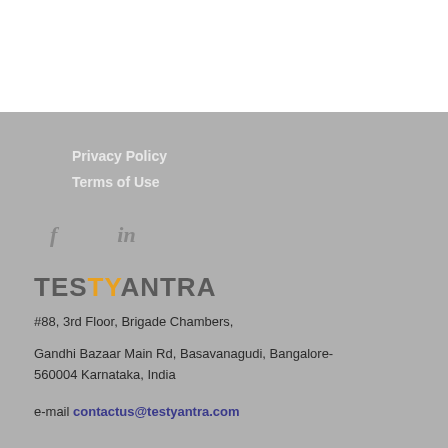Privacy Policy
Terms of Use
[Figure (logo): Social icons: Facebook (f) and LinkedIn (in) icons in gray]
[Figure (logo): TestYantra logo with TY in orange and rest in dark gray]
#88, 3rd Floor, Brigade Chambers,
Gandhi Bazaar Main Rd, Basavanagudi, Bangalore-560004 Karnataka, India
e-mail contactus@testyantra.com